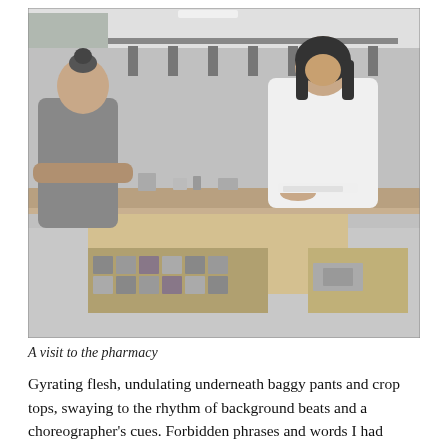[Figure (photo): Black and white photograph of two women at a pharmacy counter. One woman stands on the customer side, leaning over the counter, with her hair up in a bun, wearing a sleeveless top. The other woman, a pharmacist in a white top with dark hair, stands behind the counter. The counter has various pharmacy items and the lower section shows shelves with medication boxes.]
A visit to the pharmacy
Gyrating flesh, undulating underneath baggy pants and crop tops, swaying to the rhythm of background beats and a choreographer's cues. Forbidden phrases and words I had